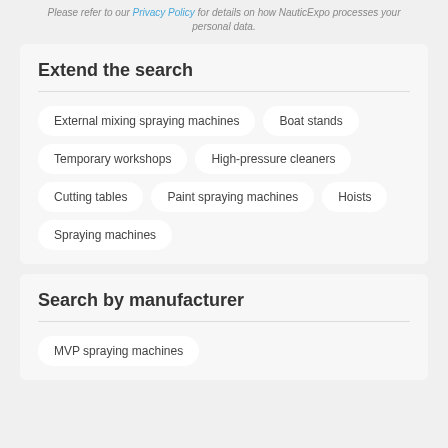Please refer to our Privacy Policy for details on how NauticExpo processes your personal data.
Extend the search
External mixing spraying machines
Boat stands
Temporary workshops
High-pressure cleaners
Cutting tables
Paint spraying machines
Hoists
Spraying machines
Search by manufacturer
MVP spraying machines